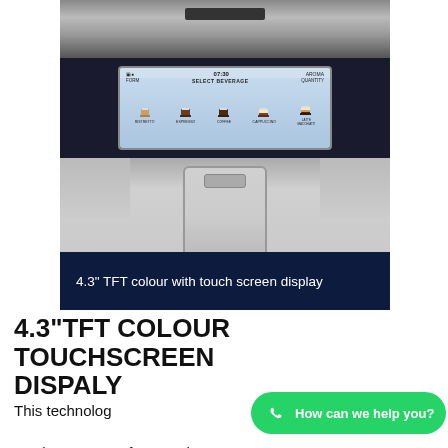[Figure (photo): Close-up photo of a silver/black espresso machine showing a 4.3 inch TFT touchscreen displaying beverage selection options (Ristretto, Espresso, Coffee, Cappuccino, Latte Macchiato). A dark navy banner at the bottom of the photo reads '4.3" TFT colour with touch screen display'.]
4.3"TFT COLOUR TOUCHSCREEN DISPALY
This technology... maximum ease of use and interaction.